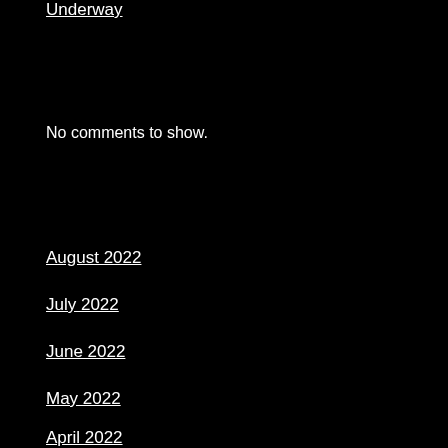Underway
No comments to show.
August 2022
July 2022
June 2022
May 2022
April 2022